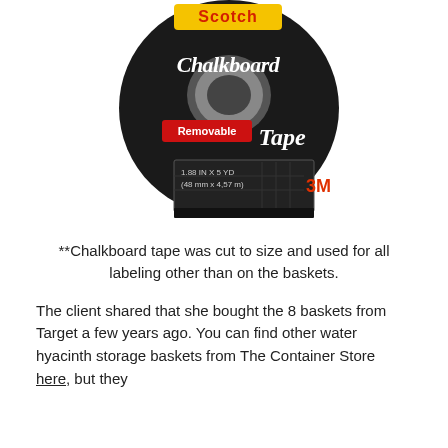[Figure (photo): Scotch Chalkboard Tape product roll. Black round tape dispenser with white chalk-style lettering reading 'Chalkboard Tape', a red banner saying 'Removable', and the 3M logo. Text on bottom: '1.88 IN X 5 YD (48 mm x 4.57 m)']
**Chalkboard tape was cut to size and used for all labeling other than on the baskets.
The client shared that she bought the 8 baskets from Target a few years ago. You can find other water hyacinth storage baskets from The Container Store here, but they